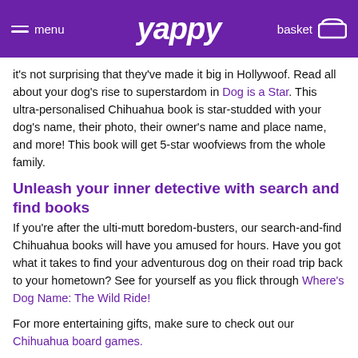menu | yappy | basket
it's not surprising that they've made it big in Hollywoof. Read all about your dog's rise to superstardom in Dog is a Star. This ultra-personalised Chihuahua book is star-studded with your dog's name, their photo, their owner's name and place name, and more! This book will get 5-star woofviews from the whole family.
Unleash your inner detective with search and find books
If you're after the ulti-mutt boredom-busters, our search-and-find Chihuahua books will have you amused for hours. Have you got what it takes to find your adventurous dog on their road trip back to your hometown? See for yourself as you flick through Where's Dog Name: The Wild Ride!
For more entertaining gifts, make sure to check out our Chihuahua board games.
[Figure (other): CHOOSE YOUR DOG teal/green CTA button]
The most barked about gifts for dog lovers
In just a few clicks, you can create a unique Chihuahua children's book or dog adventure book that's sure to become a treasured